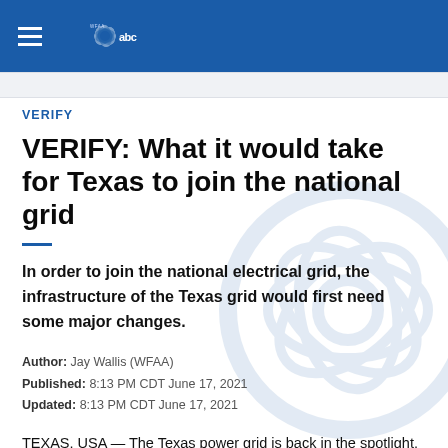WFAA ABC - Navigation header with logo
VERIFY
VERIFY: What it would take for Texas to join the national grid
In order to join the national electrical grid, the infrastructure of the Texas grid would first need some major changes.
Author: Jay Wallis (WFAA)
Published: 8:13 PM CDT June 17, 2021
Updated: 8:13 PM CDT June 17, 2021
TEXAS, USA — The Texas power grid is back in the spotlight.